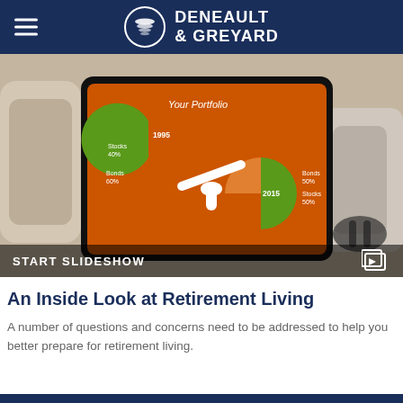DENEAULT & GREYARD
[Figure (photo): A tablet displaying a portfolio comparison chart with two pie charts labeled 1995 (Stocks 40%, Bonds 60%) and 2015 (Bonds 50%, Stocks 50%) on an orange background, placed on a couch with a bag and headphones. A 'START SLIDESHOW' bar appears at the bottom.]
An Inside Look at Retirement Living
A number of questions and concerns need to be addressed to help you better prepare for retirement living.